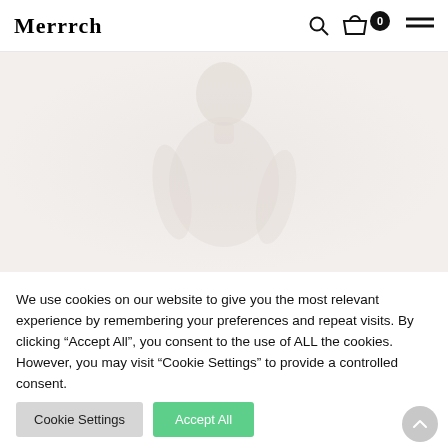Merrrch
[Figure (photo): Faint background hero image of a person, very washed-out pinkish-beige tones]
We use cookies on our website to give you the most relevant experience by remembering your preferences and repeat visits. By clicking “Accept All”, you consent to the use of ALL the cookies. However, you may visit “Cookie Settings” to provide a controlled consent.
Cookie Settings
Accept All